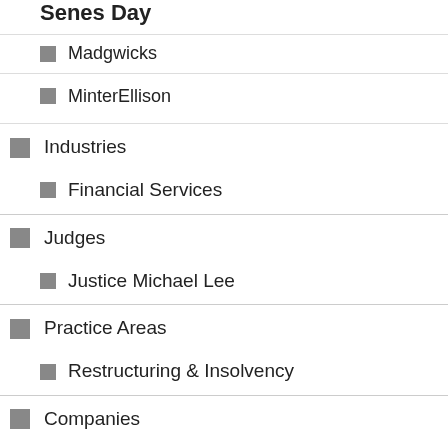Madgwicks
MinterEllison
Industries
Financial Services
Judges
Justice Michael Lee
Practice Areas
Restructuring & Insolvency
Companies